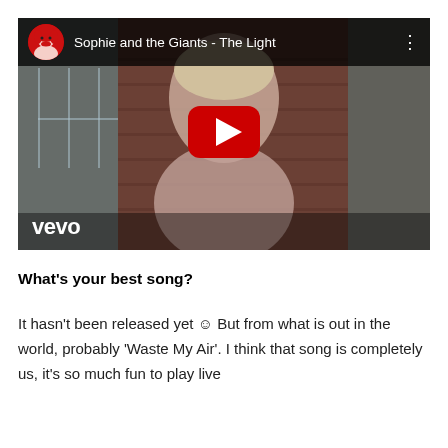[Figure (screenshot): Embedded YouTube/Vevo video thumbnail showing a young woman with blonde hair in front of a brick wall. The video title bar reads 'Sophie and the Giants - The Light' with a red-haired avatar icon. A large red YouTube play button is centered. The Vevo logo appears in white at the bottom left.]
What's your best song?
It hasn't been released yet ☺ But from what is out in the world, probably 'Waste My Air'. I think that song is completely us, it's so much fun to play live